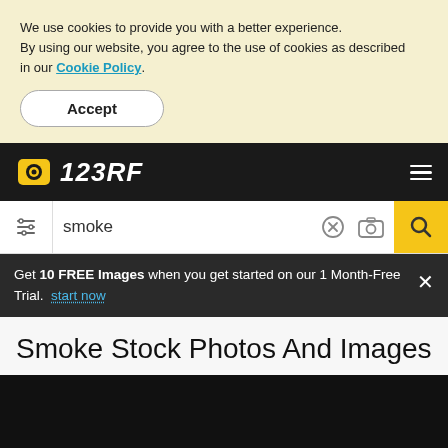We use cookies to provide you with a better experience. By using our website, you agree to the use of cookies as described in our Cookie Policy.
Accept
123RF
smoke
Get 10 FREE Images when you get started on our 1 Month-Free Trial. start now
Smoke Stock Photos And Images
[Figure (photo): Dark background stock photo preview area for smoke images]